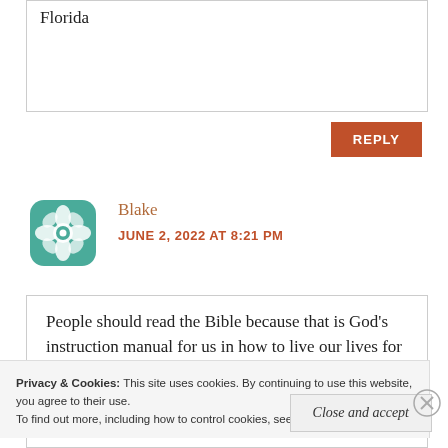Florida
REPLY
[Figure (illustration): Teal/green decorative mandala-style geometric avatar icon for user Blake]
Blake
JUNE 2, 2022 AT 8:21 PM
People should read the Bible because that is God’s instruction manual for us in how to live our lives for Him
Privacy & Cookies: This site uses cookies. By continuing to use this website, you agree to their use.
To find out more, including how to control cookies, see here: Cookie Policy
Close and accept